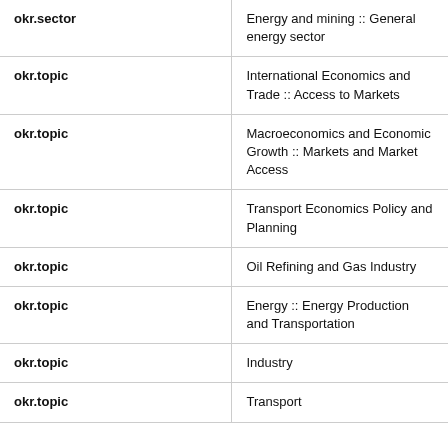|  |  |
| --- | --- |
| okr.sector | Energy and mining :: General energy sector |
| okr.topic | International Economics and Trade :: Access to Markets |
| okr.topic | Macroeconomics and Economic Growth :: Markets and Market Access |
| okr.topic | Transport Economics Policy and Planning |
| okr.topic | Oil Refining and Gas Industry |
| okr.topic | Energy :: Energy Production and Transportation |
| okr.topic | Industry |
| okr.topic | Transport |